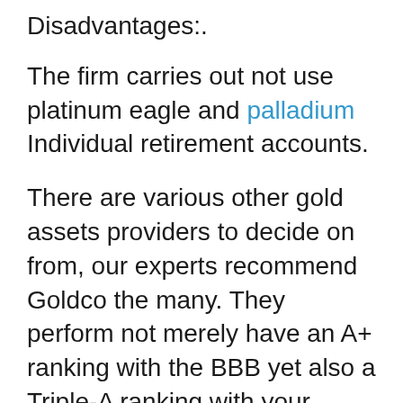Disadvantages:.
The firm carries out not use platinum eagle and palladium Individual retirement accounts.
There are various other gold assets providers to decide on from, our experts recommend Goldco the many. They perform not merely have an A+ ranking with the BBB yet also a Triple-A ranking with your business Buyer Partnership. Considering that it is actually a well-established and bank, your silver or gold investment along with them may certainly not go wrong.
Goldco focuses on rare-earth elements Individual retirement accounts, particularly